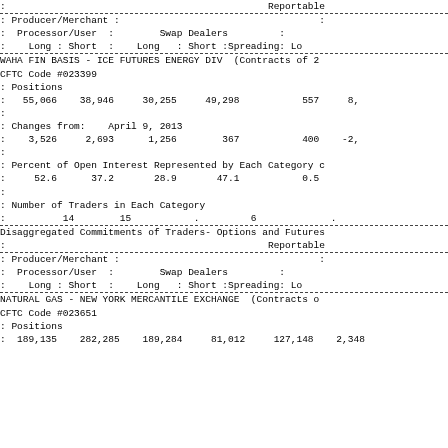:                                              Reportable
: Producer/Merchant :                                   :
:  Processor/User  :        Swap Dealers         :
:    Long : Short  :    Long   : Short :Spreading: Lo
WAHA FIN BASIS - ICE FUTURES ENERGY DIV  (Contracts of 2
CFTC Code #023399
: Positions
:   55,066    38,946     30,255     49,298           557     8,
:
: Changes from:    April 9, 2013
:    3,526     2,693      1,256        367           400    -2,
:
: Percent of Open Interest Represented by Each Category c
:     52.6      37.2       28.9       47.1           0.5
:
: Number of Traders in Each Category
:          14        15           .         6             .
Disaggregated Commitments of Traders- Options and Futures
:                                              Reportable
: Producer/Merchant :                                   :
:  Processor/User  :        Swap Dealers         :
:    Long : Short  :    Long   : Short :Spreading: Lo
NATURAL GAS - NEW YORK MERCANTILE EXCHANGE  (Contracts o
CFTC Code #023651
: Positions
:  189,135    282,285    189,284     81,012     127,148    2,348